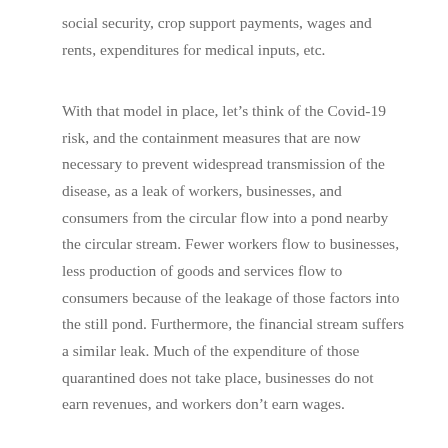social security, crop support payments, wages and rents, expenditures for medical inputs, etc.
With that model in place, let’s think of the Covid-19 risk, and the containment measures that are now necessary to prevent widespread transmission of the disease, as a leak of workers, businesses, and consumers from the circular flow into a pond nearby the circular stream. Fewer workers flow to businesses, less production of goods and services flow to consumers because of the leakage of those factors into the still pond. Furthermore, the financial stream suffers a similar leak. Much of the expenditure of those quarantined does not take place, businesses do not earn revenues, and workers don’t earn wages.